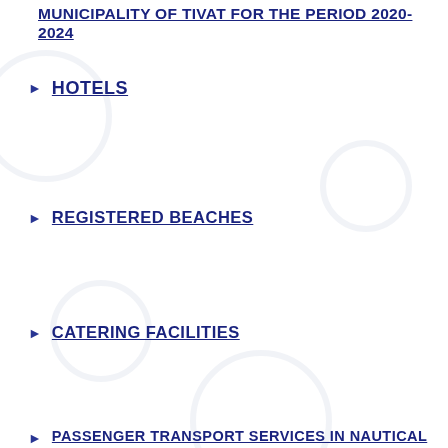MUNICIPALITY OF TIVAT FOR THE PERIOD 2020-2024
HOTELS
REGISTERED BEACHES
CATERING FACILITIES
PASSENGER TRANSPORT SERVICES IN NAUTICAL TOURISM